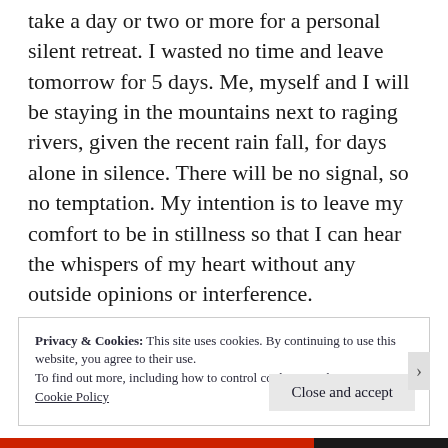take a day or two or more for a personal silent retreat. I wasted no time and leave tomorrow for 5 days. Me, myself and I will be staying in the mountains next to raging rivers, given the recent rain fall, for days alone in silence. There will be no signal, so no temptation. My intention is to leave my comfort to be in stillness so that I can hear the whispers of my heart without any outside opinions or interference.
Privacy & Cookies: This site uses cookies. By continuing to use this website, you agree to their use.
To find out more, including how to control cookies, see here: Cookie Policy